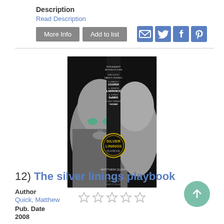Description
Read Description
More Info | Add to list
[Figure (photo): Book cover for 'Silver Linings Playbook' by Matthew Quick, black and white photo of two faces, movie tie-in edition]
★★★★★ (empty stars rating)
12) The silver linings playbook
Author
Quick, Matthew
Pub. Date
2008